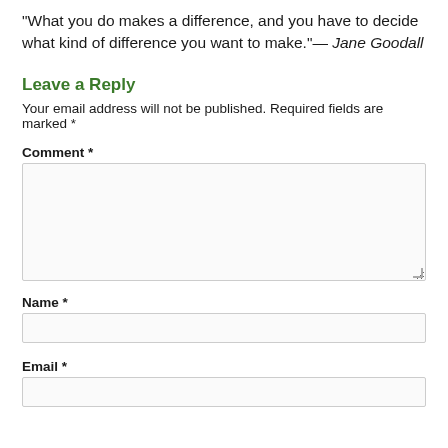"What you do makes a difference, and you have to decide what kind of difference you want to make."— Jane Goodall
Leave a Reply
Your email address will not be published. Required fields are marked *
Comment *
Name *
Email *